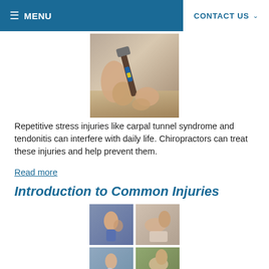≡ MENU    CONTACT US ∨
[Figure (photo): Close-up of hands using a hammer on wood, showing repetitive stress motion]
Repetitive stress injuries like carpal tunnel syndrome and tendonitis can interfere with daily life. Chiropractors can treat these injuries and help prevent them.
Read more
Introduction to Common Injuries
[Figure (photo): Collage of four photos showing various injury scenarios: person holding neck in pain, chiropractor treating patient back, golfer mid-swing, person with back pain]
Almost everyone has been injured at some point. After an